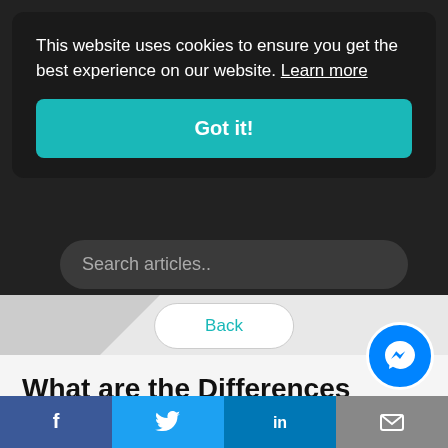This website uses cookies to ensure you get the best experience on our website. Learn more
Got it!
Search articles..
Back
What are the Differences Between DSPs, SSPs and DMPs?
[Figure (screenshot): Social share bar with Facebook, Twitter, LinkedIn and email icons]